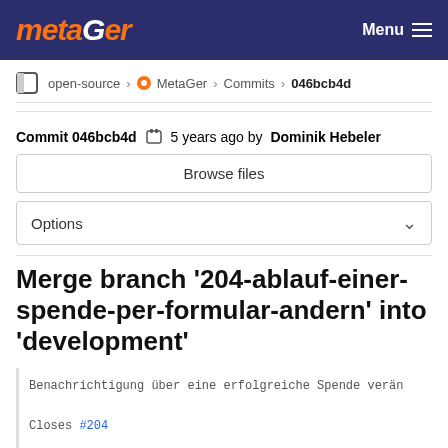metaGer  Menu
open-source › MetaGer › Commits › 046bcb4d
Commit 046bcb4d  5 years ago by Dominik Hebeler
Browse files
Options
Merge branch '204-ablauf-einer-spende-per-formular-andern' into 'development'
Benachrichtigung über eine erfolgreiche Spende verän

Closes #204

See merge request !327